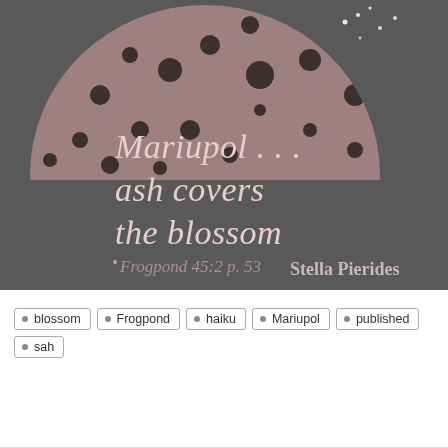[Figure (illustration): Dark grey background with a polka-dotted mauve semicircle (mushroom/dome shape) on left, small white dots (stars) upper right. Italic serif text reads 'Mariupol . . . ash covers the blossom'. Below: 'Frogpond 45:2 p. 53' and 'Stella Pierides' in lighter text.]
blossom
Frogpond
haiku
Mariupol
published
sah